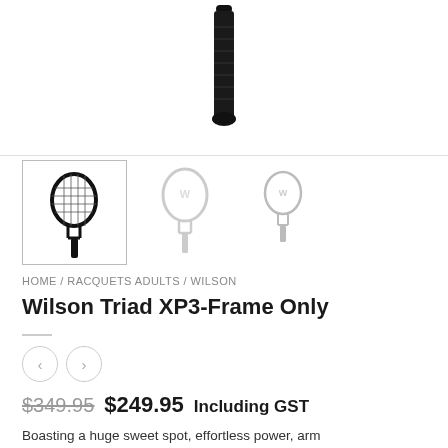[Figure (photo): Top portion of a black tennis racquet handle/grip shown vertically centered at top of page]
[Figure (photo): Three thumbnail images of Wilson Triad XP3 tennis racquet. First thumbnail (selected, with border) shows black racquet front view. Second thumbnail shows white/silver racquet front view. Third thumbnail shows a smaller silver racquet front view.]
HOME / RACQUETS ADULTS / WILSON
Wilson Triad XP3-Frame Only
$349.95  $249.95 Including GST
Boasting a huge sweet spot, effortless power, arm